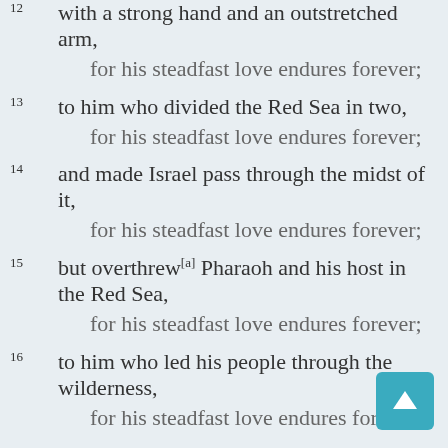12 with a strong hand and an outstretched arm,
    for his steadfast love endures forever;
13 to him who divided the Red Sea in two,
    for his steadfast love endures forever;
14 and made Israel pass through the midst of it,
    for his steadfast love endures forever;
15 but overthrew[a] Pharaoh and his host in the Red Sea,
    for his steadfast love endures forever;
16 to him who led his people through the wilderness,
    for his steadfast love endures forever;
17 to him who struck down great kings,
    for his steadfast love endures forever;
18 and killed mighty kings,